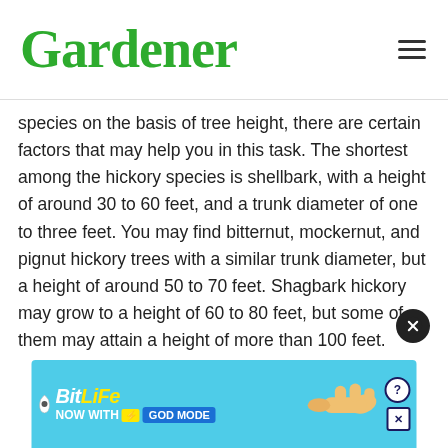Gardenerdy
species on the basis of tree height, there are certain factors that may help you in this task. The shortest among the hickory species is shellbark, with a height of around 30 to 60 feet, and a trunk diameter of one to three feet. You may find bitternut, mockernut, and pignut hickory trees with a similar trunk diameter, but a height of around 50 to 70 feet. Shagbark hickory may grow to a height of 60 to 80 feet, but some of them may attain a height of more than 100 feet.
[Figure (other): BitLife advertisement banner with 'NOW WITH GOD MODE' text, lightning bolt icon, and pointing hand illustration on a blue background]